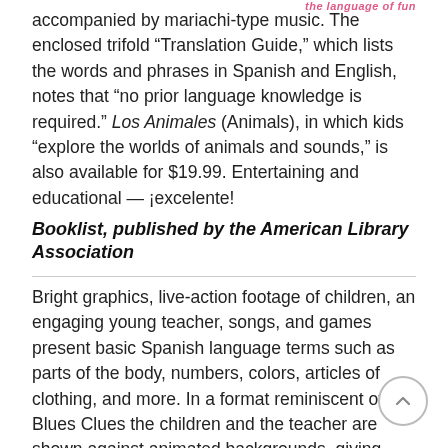the language of fun
accompanied by mariachi-type music. The enclosed trifold “Translation Guide,” which lists the words and phrases in Spanish and English, notes that “no prior language knowledge is required.” Los Animales (Animals), in which kids “explore the worlds of animals and sounds,” is also available for $19.99. Entertaining and educational — ¡excelente!
Booklist, published by the American Library Association
Bright graphics, live-action footage of children, an engaging young teacher, songs, and games present basic Spanish language terms such as parts of the body, numbers, colors, articles of clothing, and more. In a format reminiscent of Blues Clues the children and the teacher are shown against animated backgrounds, giving variety and visual appeal to the presentation... [T]he well-structured DVD presents... pleasantly...